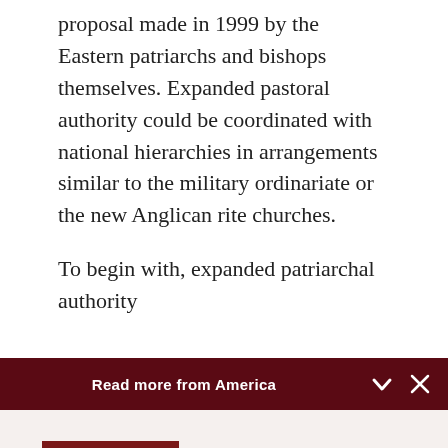proposal made in 1999 by the Eastern patriarchs and bishops themselves. Expanded pastoral authority could be coordinated with national hierarchies in arrangements similar to the military ordinariate or the new Anglican rite churches.
To begin with, expanded patriarchal authority
Read more from America
[Figure (photo): Group of Catholic clergy in red and white vestments standing together]
Phoenix's newly appointed bishop John Dolan 'likes …
J.D. Long-García